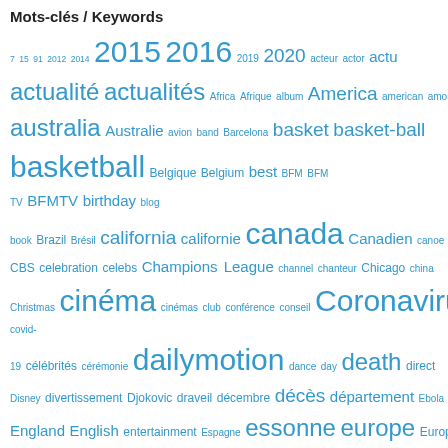Mots-clés / Keywords
[Figure (infographic): Tag cloud / word cloud of keywords in blue, varying font sizes indicating frequency. Words include: 7 15 91 2012 2014 2015 2016 2019 2020 acteur actor actu actualité actualités Africa Afrique album America american amour anglais Angleterre anniversaire année ans Apple art article atp australia Australie avion band Barcelona basket basket-ball basketball Belgique Belgium best BFM BFM TV BFMTV birthday blog book Brazil Brésil california californie canada Canadien canoe carte CBS celebration celebs Champions League channel chanteur Chicago china Christmas cinéma cinémas club conférence conseil Coronavirus covid-19 célébrités cérémonie dailymotion dance day death direct Disney divertissement Djokovic draveil décembre décès département Ebola England English entertainment Espagne essonne europe Europe 1 facebook faits saillants fashion female femme film final finale foot football france français François Hollande]